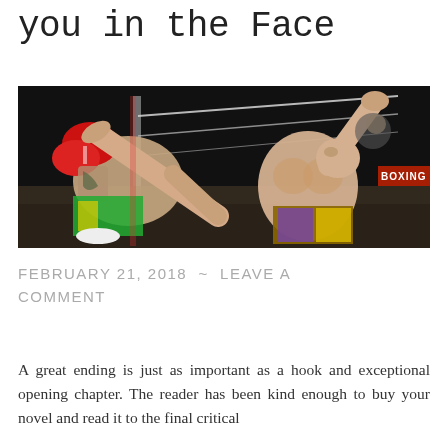you in the Face
[Figure (photo): Two fighters in a boxing ring; one fighter on the right is shirtless and wearing traditional Muay Thai trunks, executing a high kick toward the opponent on the left who is wearing red boxing gloves and colorful shorts. The ring ropes and arena lighting are visible in the background.]
FEBRUARY 21, 2018 ~ LEAVE A COMMENT
A great ending is just as important as a hook and exceptional opening chapter. The reader has been kind enough to buy your novel and read it to the final critical